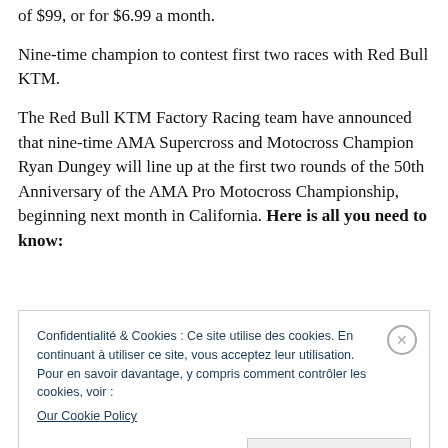of $99, or for $6.99 a month.
Nine-time champion to contest first two races with Red Bull KTM.
The Red Bull KTM Factory Racing team have announced that nine-time AMA Supercross and Motocross Champion Ryan Dungey will line up at the first two rounds of the 50th Anniversary of the AMA Pro Motocross Championship, beginning next month in California. Here is all you need to know:
Confidentialité & Cookies : Ce site utilise des cookies. En continuant à utiliser ce site, vous acceptez leur utilisation.
Pour en savoir davantage, y compris comment contrôler les cookies, voir :
Our Cookie Policy
Fermer et accepter